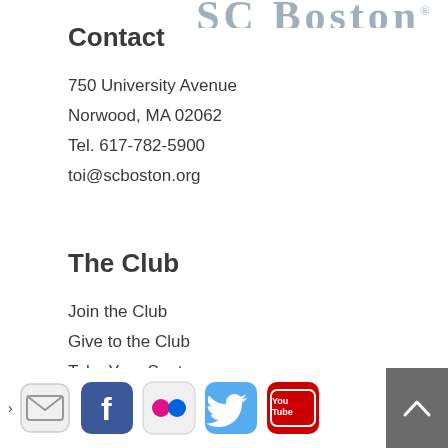SC Boston ®
Contact
750 University Avenue
Norwood, MA 02062
Tel. 617-782-5900
toi@scboston.org
The Club
Join the Club
Give to the Club
Take Your Seat
[Figure (infographic): Social media icons: email, Facebook, Flickr, Twitter, YouTube]